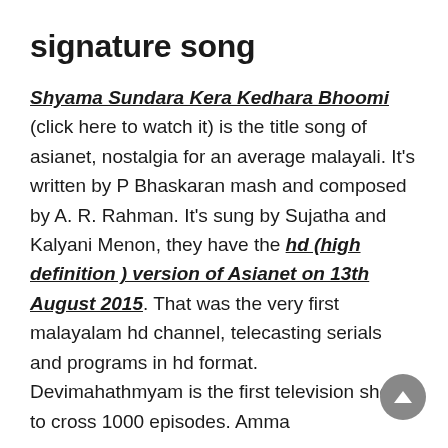signature song
Shyama Sundara Kera Kedhara Bhoomi (click here to watch it) is the title song of asianet, nostalgia for an average malayali. It’s written by P Bhaskaran mash and composed by A. R. Rahman. It’s sung by Sujatha and Kalyani Menon, they have the hd (high definition ) version of Asianet on 13th August 2015. That was the very first malayalam hd channel, telecasting serials and programs in hd format. Devimahathmyam is the first television show to cross 1000 episodes. Amma